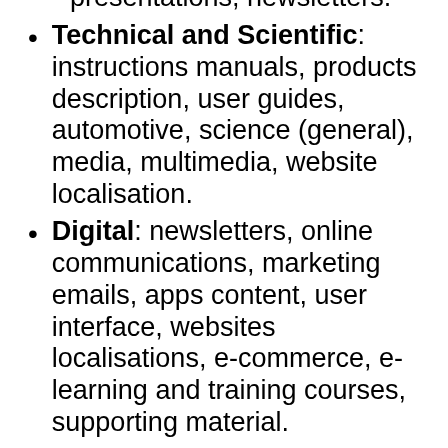presentations, newsletters.
Technical and Scientific: instructions manuals, products description, user guides, automotive, science (general), media, multimedia, website localisation.
Digital: newsletters, online communications, marketing emails, apps content, user interface, websites localisations, e-commerce, e-learning and training courses, supporting material.
Journalism and International Development: articles, blogs, websites content, newspapers, print communications, newsletters, reports, sustainability, research reports, press releases, articles.